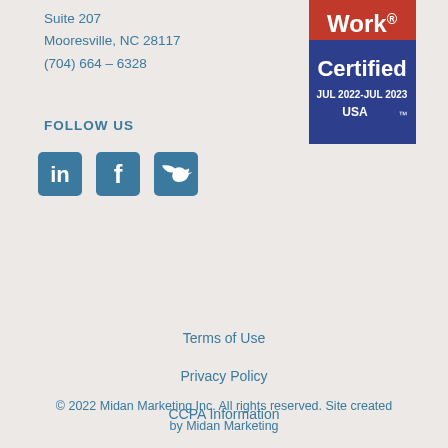Suite 207
Mooresville, NC 28117
(704) 664 – 6328
FOLLOW US
[Figure (illustration): Social media icons: LinkedIn, Facebook, Twitter in teal/blue square icon style]
[Figure (logo): Great Place to Work Certified badge, JUL 2022-JUL 2023, USA]
Terms of Use
Privacy Policy
CCPA Information
© 2022 Midan Marketing Inc. All rights reserved. Site created by Midan Marketing